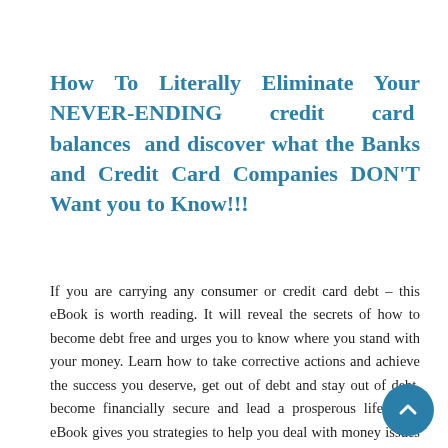How To Literally Eliminate Your NEVER-ENDING credit card balances and discover what the Banks and Credit Card Companies DON'T Want you to Know!!!
If you are carrying any consumer or credit card debt – this eBook is worth reading. It will reveal the secrets of how to become debt free and urges you to know where you stand with your money. Learn how to take corrective actions and achieve the success you deserve, get out of debt and stay out of debt, become financially secure and lead a prosperous life. This eBook gives you strategies to help you deal with money issues in the following areas: